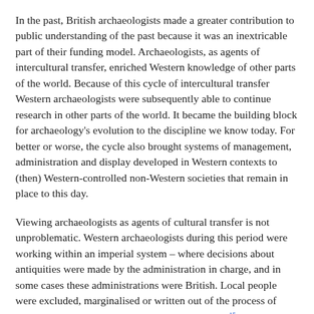In the past, British archaeologists made a greater contribution to public understanding of the past because it was an inextricable part of their funding model. Archaeologists, as agents of intercultural transfer, enriched Western knowledge of other parts of the world. Because of this cycle of intercultural transfer Western archaeologists were subsequently able to continue research in other parts of the world. It became the building block for archaeology's evolution to the discipline we know today. For better or worse, the cycle also brought systems of management, administration and display developed in Western contexts to (then) Western-controlled non-Western societies that remain in place to this day.
Viewing archaeologists as agents of cultural transfer is not unproblematic. Western archaeologists during this period were working within an imperial system – where decisions about antiquities were made by the administration in charge, and in some cases these administrations were British. Local people were excluded, marginalised or written out of the process of discovering, managing and interpreting their past[15]. However, research into archaeological archives shows the extent of local involvement in archaeological research (e. g. Quirke 2010). Further investigation may enable the extent of non-Western engagement in archaeology and participation in the cycle of intercultural transfer to be re-evaluated.